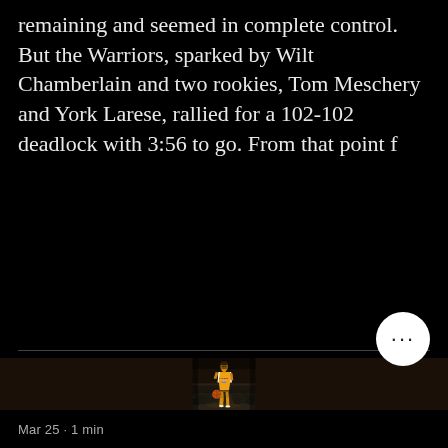remaining and seemed in complete control. But the Warriors, sparked by Wilt Chamberlain and two rookies, Tom Meschery and York Larese, rallied for a 102-102 deadlock with 3:56 to go. From that point f
[Figure (photo): A Lakers basketball player wearing jersey number 44 dribbling a basketball, with a crowd of spectators visible in the background. The player is in a yellow Lakers uniform. The image appears to be a colorized vintage photograph.]
Mar 25  ·  1 min